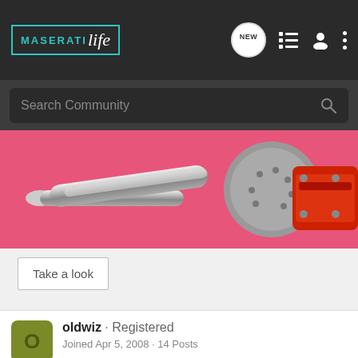MASERATIlife
Search Community
[Figure (photo): Pink background with chrome exhaust pipe and red brake caliper/disc components of a car]
Take a look
oldwiz · Registered
Joined Apr 5, 2008 · 14 Posts
Discussion Starter · #9 · Apr 25, 2008
drewcwsj said: ⊕
I thought they were typos. Who sits on new cars for two years with